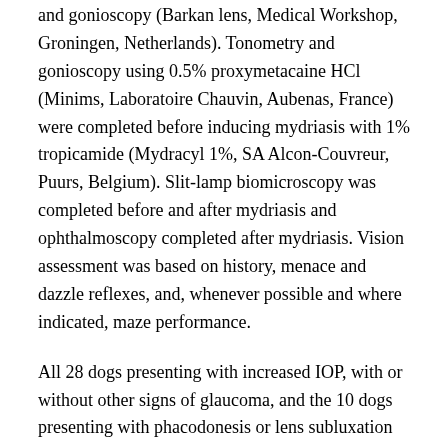and gonioscopy (Barkan lens, Medical Workshop, Groningen, Netherlands). Tonometry and gonioscopy using 0.5% proxymetacaine HCl (Minims, Laboratoire Chauvin, Aubenas, France) were completed before inducing mydriasis with 1% tropicamide (Mydracyl 1%, SA Alcon-Couvreur, Puurs, Belgium). Slit-lamp biomicroscopy was completed before and after mydriasis and ophthalmoscopy completed after mydriasis. Vision assessment was based on history, menace and dazzle reflexes, and, whenever possible and where indicated, maze performance.
All 28 dogs presenting with increased IOP, with or without other signs of glaucoma, and the 10 dogs presenting with phacodonesis or lens subluxation in normotensive eyes were DNA sampled using standard buccal mucosal swabs (Animal Health Trust, Newmarket, United Kingdom) taken at the time of the initial examination. The commercially available tests for the ADAMTS 10 mutation responsible for POAG in the Beagle13 and the ADAMTS 17 mutation responsible for